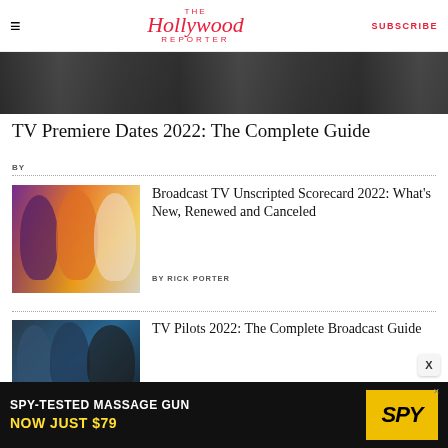The Hollywood Reporter | SUBSCRIBE
[Figure (photo): Dark hero image banner strip]
TV Premiere Dates 2022: The Complete Guide
BY
[Figure (photo): Three people composite photo for Broadcast TV Unscripted Scorecard article]
Broadcast TV Unscripted Scorecard 2022: What's New, Renewed and Canceled
BY RICK PORTER
[Figure (photo): Three people in formal wear photo for TV Pilots article]
TV Pilots 2022: The Complete Broadcast Guide
BY LESLEY GOLDBERG
[Figure (other): Advertisement banner: SPY-TESTED MASSAGE GUN NOW JUST $79 with SPY logo]